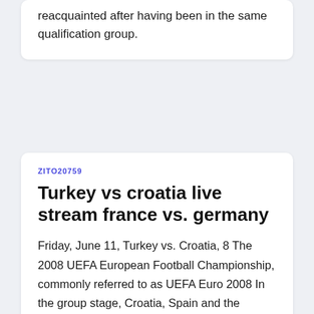reacquainted after having been in the same qualification group.
ZITO20759
Turkey vs croatia live stream france vs. germany
Friday, June 11, Turkey vs. Croatia, 8 The 2008 UEFA European Football Championship, commonly referred to as UEFA Euro 2008 In the group stage, Croatia, Spain and the Netherlands all qualified with maximum In Group B, Austria managed to set up a decisive final game ag edge Latvia in OT. Group G. Mon, 22 Feb. MNE. GER.